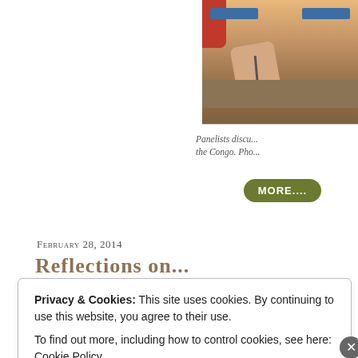[Figure (photo): A panelist at a conference table raising a hand, blue banners visible, red curtain at side, discussing the Congo.]
Panelists discu... the Congo. Pho...
MORE....
February 28, 2014
Reflections on...
Privacy & Cookies: This site uses cookies. By continuing to use this website, you agree to their use.
To find out more, including how to control cookies, see here: Cookie Policy
Close and accept